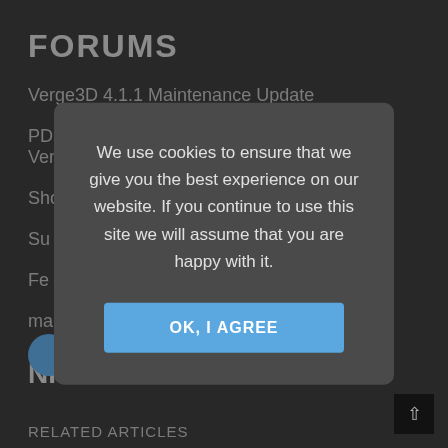FORUMS
Verge3D 4.1.1 Maintenance Update
PDF attachment doesn't work properly in Verge3D 4.1.
Shopping Centre Directory
Su
Fe
ma
NI
[Figure (other): Blue circular avatar icon]
RELATED ARTICLES
We use cookies to ensure that we give you the best experience on our website. If you continue to use this site we will assume that you are happy with it.
OK, I AGREE